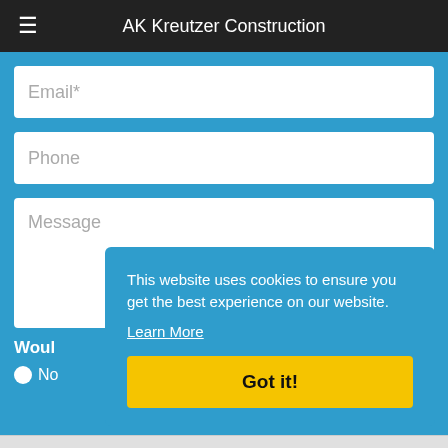AK Kreutzer Construction
Email*
Phone
Message
Would
No
This website uses cookies to ensure you get the best experience on our website.
Learn More
Got it!